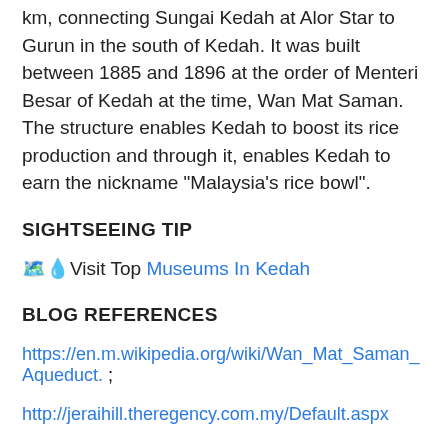km, connecting Sungai Kedah at Alor Star to Gurun in the south of Kedah. It was built between 1885 and 1896 at the order of Menteri Besar of Kedah at the time, Wan Mat Saman. The structure enables Kedah to boost its rice production and through it, enables Kedah to earn the nickname “Malaysia’s rice bowl”.
SIGHTSEEING TIP
🗺️💧Visit Top Museums In Kedah
BLOG REFERENCES
https://en.m.wikipedia.org/wiki/Wan_Mat_Saman_Aqueduct. ;
http://jeraihill.theregency.com.my/Default.aspx
KEEP IN MIND